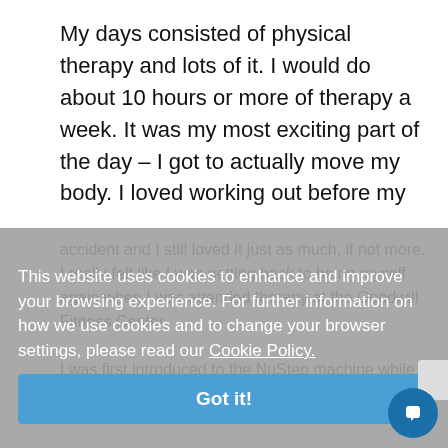My days consisted of physical therapy and lots of it. I would do about 10 hours or more of therapy a week. It was my most exciting part of the day – I got to actually move my body. I loved working out before my accident and I still loved it just as much, if not more. I really felt like I was getting back to being myself again when I was attended therapy at the Goodwill Fitness Center.
This website uses cookies to enhance and improve your browsing experience. For further information on how we use cookies and to change your browser settings, please read our Cookie Policy.
Got it!
I was first introduced to the NuStep machine while at the Goodwill Fitness Center in Santa Ana. I had been